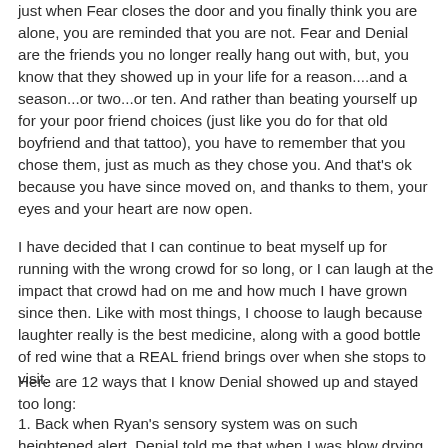just when Fear closes the door and you finally think you are alone, you are reminded that you are not. Fear and Denial are the friends you no longer really hang out with, but, you know that they showed up in your life for a reason....and a season...or two...or ten. And rather than beating yourself up for your poor friend choices (just like you do for that old boyfriend and that tattoo), you have to remember that you chose them, just as much as they chose you. And that's ok because you have since moved on, and thanks to them, your eyes and your heart are now open.
I have decided that I can continue to beat myself up for running with the wrong crowd for so long, or I can laugh at the impact that crowd had on me and how much I have grown since then. Like with most things, I choose to laugh because laughter really is the best medicine, along with a good bottle of red wine that a REAL friend brings over when she stops to visit.
Here are 12 ways that I know Denial showed up and stayed too long:
1. Back when Ryan's sensory system was on such heightened alert, Denial told me that when I was blow drying my hair, it wasn't the sound